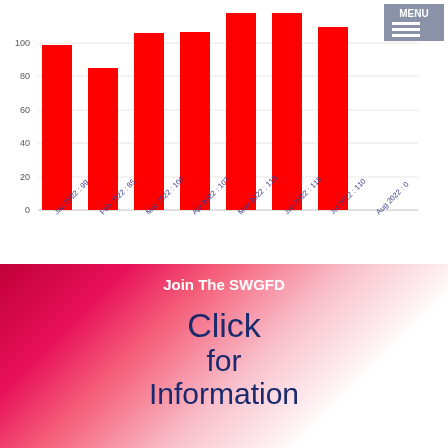[Figure (bar-chart): ]
Join The SWGFD
Click

for

Information